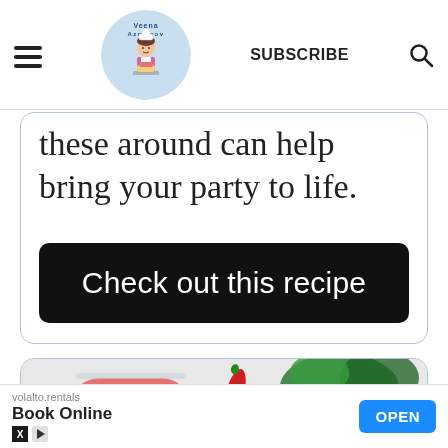SUBSCRIBE (navigation bar with hamburger menu, logo, subscribe label, search icon)
these around can help bring your party to life.
Check out this recipe
[Figure (photo): Photo of a red cocktail drink in a glass with a slice of orange/lemon, a red chili pepper, and green leafy vegetables in the background]
volalto.rentals
Book Online
OPEN